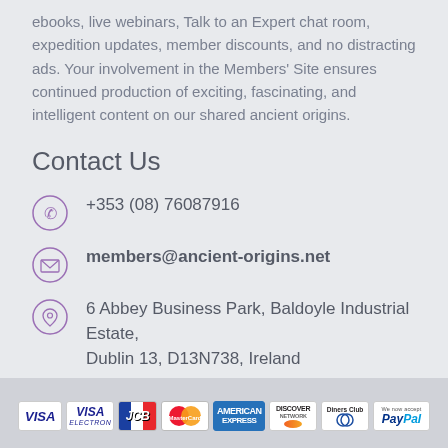ebooks, live webinars, Talk to an Expert chat room, expedition updates, member discounts, and no distracting ads. Your involvement in the Members' Site ensures continued production of exciting, fascinating, and intelligent content on our shared ancient origins.
Contact Us
+353 (08) 76087916
members@ancient-origins.net
6 Abbey Business Park, Baldoyle Industrial Estate, Dublin 13, D13N738, Ireland
[Figure (infographic): Row of payment method logos: VISA, VISA Electron, JCB, MasterCard, American Express, Discover Network, Diners Club, PayPal (We now accept PayPal)]